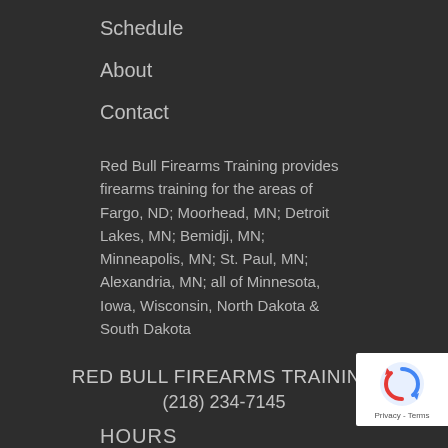Schedule
About
Contact
Red Bull Firearms Training provides firearms training for the areas of Fargo, ND; Moorhead, MN; Detroit Lakes, MN; Bemidji, MN; Minneapolis, MN; St. Paul, MN; Alexandria, MN; all of Minnesota, Iowa, Wisconsin, North Dakota & South Dakota
RED BULL FIREARMS TRAINING
(218) 234-7145
[Figure (other): reCAPTCHA privacy badge with blue circular arrow logo and 'Privacy - Terms' text]
HOURS